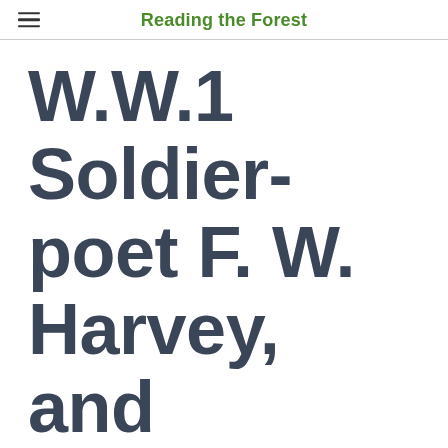Reading the Forest
W.W.1 Soldier-poet F. W. Harvey, and Remembrance